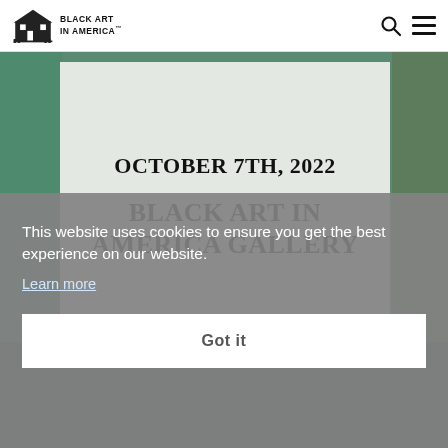Black Art In America
[Figure (screenshot): Website screenshot showing a promotional image for Black Art In America Gallery event on October 7th, 2022, with a white paper card on teal/green background displaying the event date and gallery name]
This website uses cookies to ensure you get the best experience on our website.
Learn more
Got it